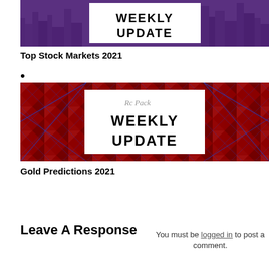[Figure (illustration): Purple-toned city skyline banner with white box in center displaying 'WEEKLY UPDATE' in bold black text]
Top Stock Markets 2021
[Figure (illustration): Red geometric pattern banner with white box in center, handwritten signature at top, displaying 'WEEKLY UPDATE' in bold black text]
Gold Predictions 2021
Leave A Response
You must be logged in to post a comment.